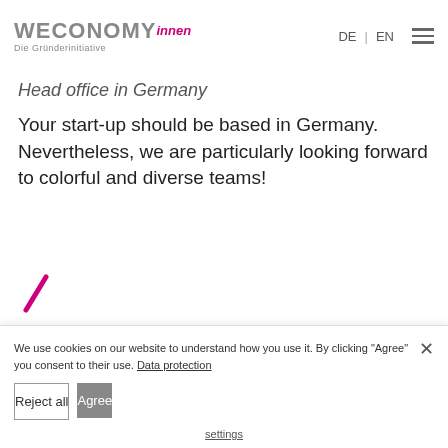WECONOMY innen – Die Gründerinitiative | DE | EN
Head office in Germany
Your start-up should be based in Germany. Nevertheless, we are particularly looking forward to colorful and diverse teams!
[Figure (illustration): Magenta/pink pencil or edit icon tilted diagonally]
We use cookies on our website to understand how you use it. By clicking "Agree" you consent to their use. Data protection
Reject all | Agree
settings